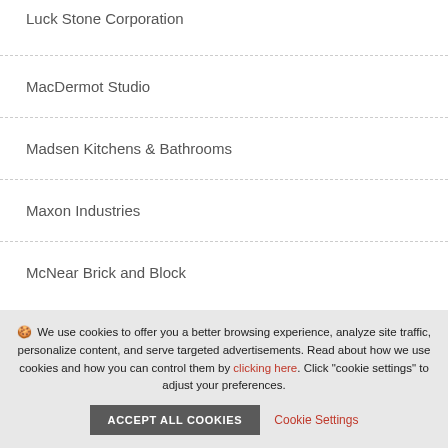Luck Stone Corporation
MacDermot Studio
Madsen Kitchens & Bathrooms
Maxon Industries
McNear Brick and Block
🍪 We use cookies to offer you a better browsing experience, analyze site traffic, personalize content, and serve targeted advertisements. Read about how we use cookies and how you can control them by clicking here. Click "cookie settings" to adjust your preferences.
ACCEPT ALL COOKIES | Cookie Settings